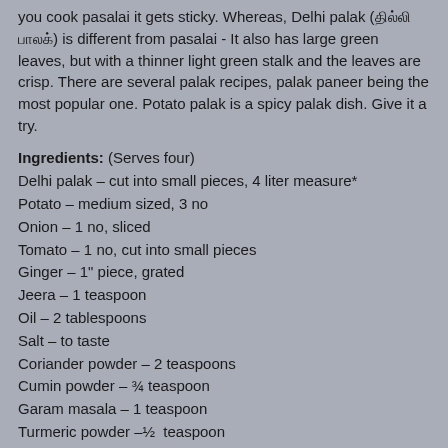you cook pasalai it gets sticky. Whereas, Delhi palak (தில்லி பாலக்) is different from pasalai - It also has large green leaves, but with a thinner light green stalk and the leaves are crisp. There are several palak recipes, palak paneer being the most popular one. Potato palak is a spicy palak dish. Give it a try.
Ingredients: (Serves four)
Delhi palak – cut into small pieces, 4 liter measure*
Potato – medium sized, 3 no
Onion – 1 no, sliced
Tomato – 1 no, cut into small pieces
Ginger – 1" piece, grated
Jeera – 1 teaspoon
Oil – 2 tablespoons
Salt – to taste
Coriander powder – 2 teaspoons
Cumin powder – ¾ teaspoon
Garam masala – 1 teaspoon
Turmeric powder –½  teaspoon
Red chilli powder – 1 teaspoon